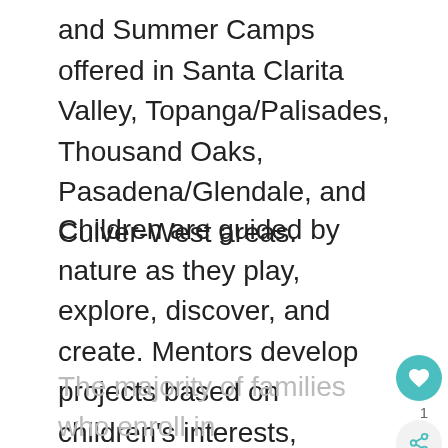and Summer Camps offered in Santa Clarita Valley, Topanga/Palisades, Thousand Oaks, Pasadena/Glendale, and Culver-West areas.
Children are guided by nature as they play, explore, discover, and create. Mentors develop projects based on children's interests, naturally occurring events in nature, environmental stewardship skills, and Next Generation Science Standards. EverWild enhances children's social and emotional development, 21st-century skills, and ecological literacy
The majority of families who enroll in